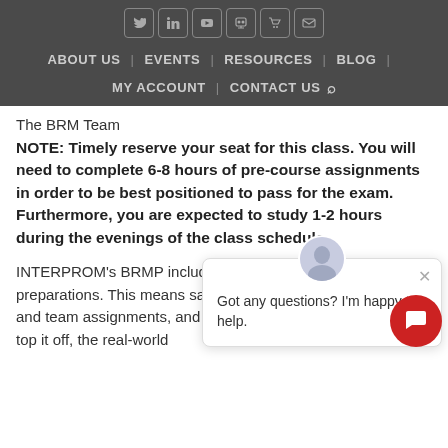[Figure (screenshot): Website navigation bar with social media icons (Twitter, LinkedIn, YouTube, SlideShare, cart, email) and nav links: ABOUT US, EVENTS, RESOURCES, BLOG, MY ACCOUNT, CONTACT US, search icon]
The BRM Team
NOTE: Timely reserve your seat for this class. You will need to complete 6-8 hours of pre-course assignments in order to be best positioned to pass for the exam. Furthermore, you are expected to study 1-2 hours during the evenings of the class schedule.
INTERPROM's BRMP include the exam and thorough exam preparations. This means sample exam questions individual and team assignments, and repetition course content. And to top it off, the real-world
[Figure (screenshot): Chat popup overlay with avatar and text: Got any questions? I'm happy to help. with close X button, and a red circular chat button in the bottom right corner.]